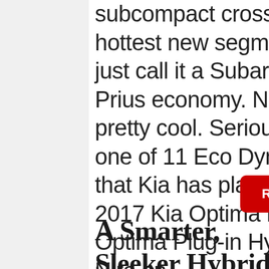subcompact crossover, which is the hottest new segment, or we could just call it a Subaru look-alike with Prius economy. Now that sounds pretty cool. Seriously. The Niro is one of 11 Eco Dynamics models that Kia has planned by 2020. The 2017 Kia Optima Hybrid and Kia Optima Plug-in Hybrid preceded the Niro on...
Read More
A Smarter, Sleeker Hybrid From Toyota